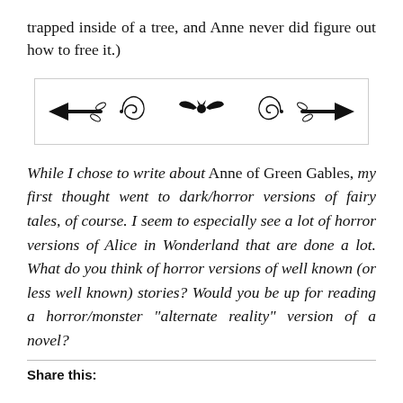trapped inside of a tree, and Anne never did figure out how to free it.)
[Figure (illustration): Decorative divider with arrows, swirls, and a bat silhouette in the center, enclosed in a light-bordered rectangle.]
While I chose to write about Anne of Green Gables, my first thought went to dark/horror versions of fairy tales, of course. I seem to especially see a lot of horror versions of Alice in Wonderland that are done a lot. What do you think of horror versions of well known (or less well known) stories? Would you be up for reading a horror/monster “alternate reality” version of a novel?
Share this: